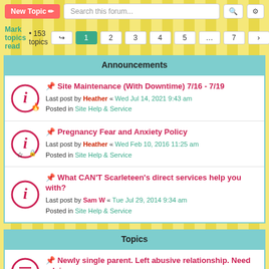New Topic | Search this forum...
Mark topics read • 153 topics | Pages: 1 2 3 4 5 ... 7
Announcements
Site Maintenance (With Downtime) 7/16 - 7/19 | Last post by Heather « Wed Jul 14, 2021 9:43 am | Posted in Site Help & Service
Pregnancy Fear and Anxiety Policy | Last post by Heather « Wed Feb 10, 2016 11:25 am | Posted in Site Help & Service
What CAN'T Scarleteen's direct services help you with? | Last post by Sam W « Tue Jul 29, 2014 9:34 am | Posted in Site Help & Service
Topics
Newly single parent. Left abusive relationship. Need advice | Last post by whiteraven « Wed Aug 31, 2022 8:41 pm